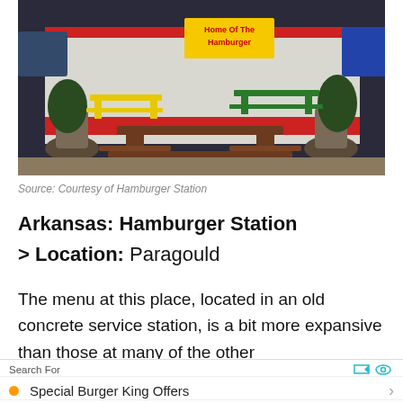[Figure (photo): Exterior of Hamburger Station restaurant showing outdoor picnic tables, a red and white building facade with a sign reading 'Home Of The Hamburger', potted plants, and parking area at night.]
Source: Courtesy of Hamburger Station
Arkansas: Hamburger Station
> Location: Paragould
The menu at this place, located in an old concrete service station, is a bit more expansive than those at many of the other
Search For
Special Burger King Offers
Burger King Menu With Prices